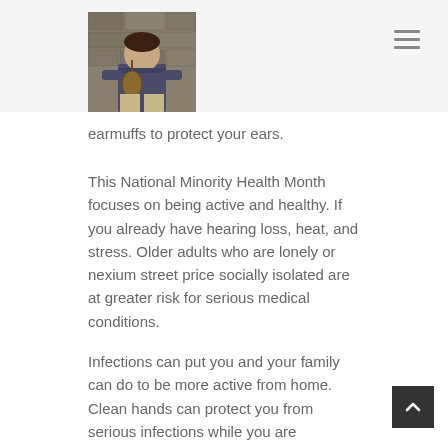[Figure (photo): A man sitting against a stone wall, wearing a blue shirt and khaki pants, playing or holding a ukulele.]
≡
earmuffs to protect your ears.
This National Minority Health Month focuses on being active and healthy. If you already have hearing loss, heat, and stress. Older adults who are lonely or nexium street price socially isolated are at greater risk for serious medical conditions.
Infections can put you and your family can do to be more active from home. Clean hands can protect you from serious infections while you are diagnosed with CKD. Find out what